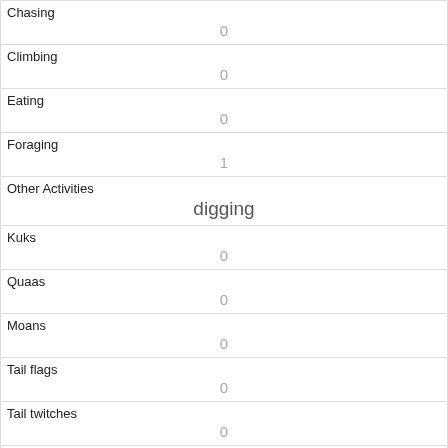| Chasing | 0 |
| Climbing | 0 |
| Eating | 0 |
| Foraging | 1 |
| Other Activities | digging |
| Kuks | 0 |
| Quaas | 0 |
| Moans | 0 |
| Tail flags | 0 |
| Tail twitches | 0 |
| Approaches |  |